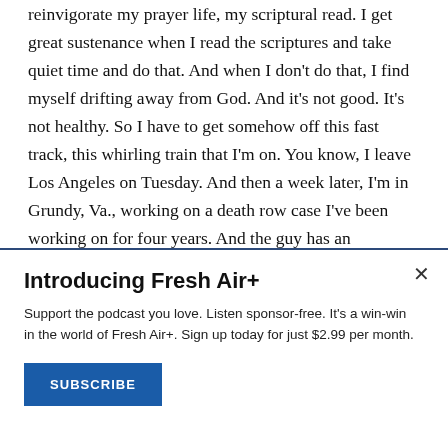reinvigorate my prayer life, my scriptural read. I get great sustenance when I read the scriptures and take quiet time and do that. And when I don't do that, I find myself drifting away from God. And it's not good. It's not healthy. So I have to get somehow off this fast track, this whirling train that I'm on. You know, I leave Los Angeles on Tuesday. And then a week later, I'm in Grundy, Va., working on a death row case I've been working on for four years. And the guy has an execution date of May 20.
Introducing Fresh Air+
Support the podcast you love. Listen sponsor-free. It's a win-win in the world of Fresh Air+. Sign up today for just $2.99 per month.
SUBSCRIBE